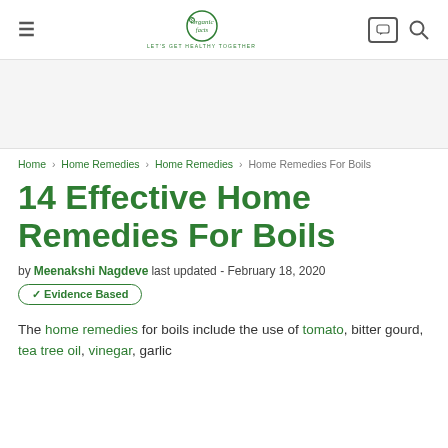Organic Facts — LET'S GET HEALTHY TOGETHER
[Figure (other): Advertisement banner placeholder (gray area)]
Home › Home Remedies › Home Remedies › Home Remedies For Boils
14 Effective Home Remedies For Boils
by Meenakshi Nagdeve last updated - February 18, 2020
✓ Evidence Based
The home remedies for boils include the use of tomato, bitter gourd, tea tree oil, vinegar, garlic